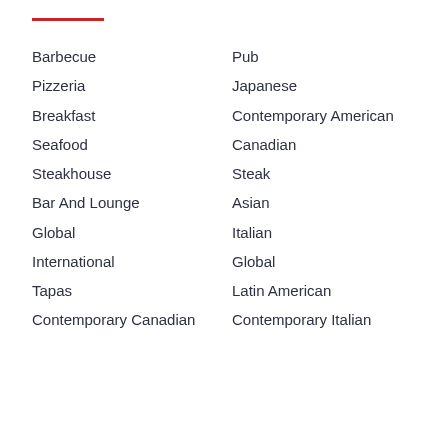Barbecue
Pub
Pizzeria
Japanese
Breakfast
Contemporary American
Seafood
Canadian
Steakhouse
Steak
Bar And Lounge
Asian
Global
Italian
International
Global
Tapas
Latin American
Contemporary Canadian
Contemporary Italian